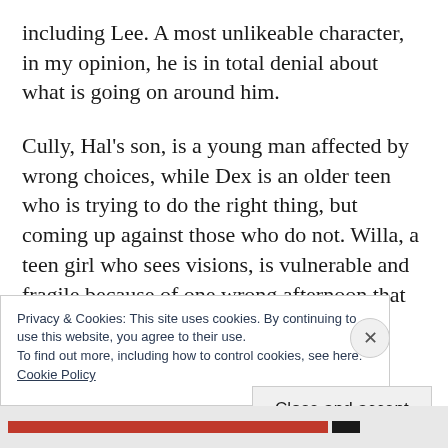including Lee. A most unlikeable character, in my opinion, he is in total denial about what is going on around him.
Cully, Hal's son, is a young man affected by wrong choices, while Dex is an older teen who is trying to do the right thing, but coming up against those who do not. Willa, a teen girl who sees visions, is vulnerable and fragile because of one wrong afternoon that
Privacy & Cookies: This site uses cookies. By continuing to use this website, you agree to their use.
To find out more, including how to control cookies, see here:
Cookie Policy
Close and accept